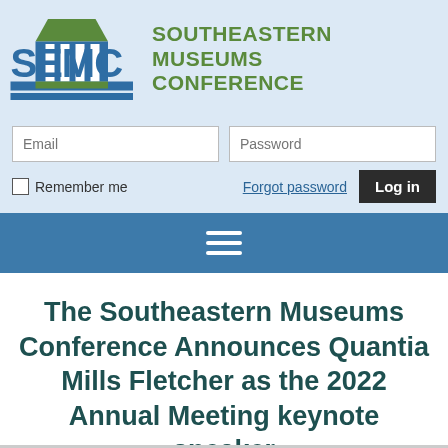[Figure (logo): SEMC Southeastern Museums Conference logo with blue and green colors, featuring a building/museum icon with columns]
SOUTHEASTERN MUSEUMS CONFERENCE
Email
Password
Remember me
Forgot password
Log in
The Southeastern Museums Conference Announces Quantia Mills Fletcher as the 2022 Annual Meeting keynote speaker